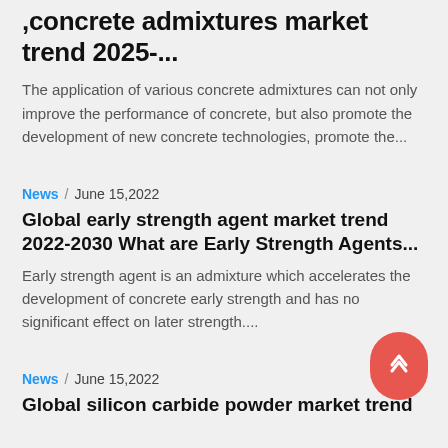,concrete admixtures market trend 2025-...
The application of various concrete admixtures can not only improve the performance of concrete, but also promote the development of new concrete technologies, promote the...
News / June 15,2022
Global early strength agent market trend 2022-2030 What are Early Strength Agents...
Early strength agent is an admixture which accelerates the development of concrete early strength and has no significant effect on later strength....
News / June 15,2022
Global silicon carbide powder market trend